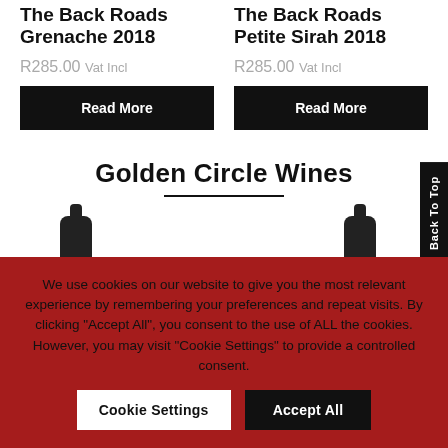The Back Roads Grenache 2018
R285.00 Vat Incl
Read More
The Back Roads Petite Sirah 2018
R285.00 Vat Incl
Read More
Golden Circle Wines
[Figure (photo): Two dark wine bottle tops partially visible at bottom of section]
Back To Top
We use cookies on our website to give you the most relevant experience by remembering your preferences and repeat visits. By clicking "Accept All", you consent to the use of ALL the cookies. However, you may visit "Cookie Settings" to provide a controlled consent.
Cookie Settings
Accept All